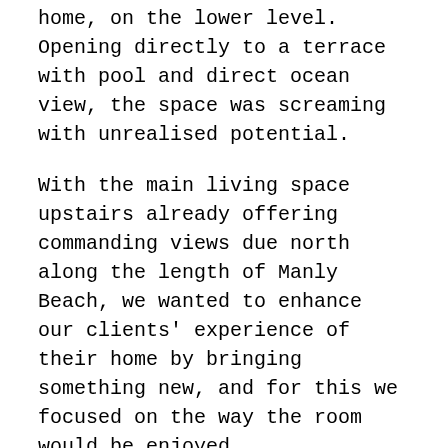home, on the lower level. Opening directly to a terrace with pool and direct ocean view, the space was screaming with unrealised potential.

With the main living space upstairs already offering commanding views due north along the length of Manly Beach, we wanted to enhance our clients' experience of their home by bringing something new, and for this we focused on the way the room would be enjoyed.

Our idea was to create a second living space dedicated to relaxation and entertaining: a chic lounge bar with full kitchen, integrated banquette dining for eight, relaxed living, and direct outdoor pool terrace access; perfect for long lingering